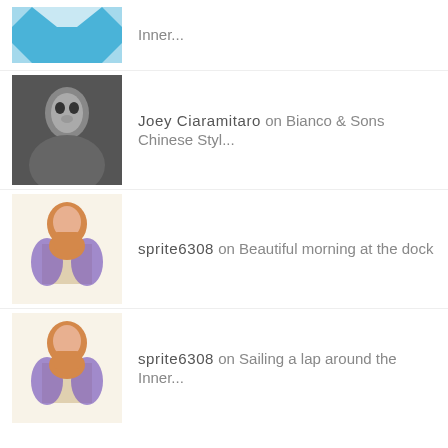Inner...
Joey Ciaramitaro on Bianco & Sons Chinese Styl...
sprite6308 on Beautiful morning at the dock
sprite6308 on Sailing a lap around the Inner...
FREE GMG GLOUCESTER STICKER
[Figure (logo): Good Morning Gloucester logo sticker - black and white seagull with radiating lines, text reads GOOD MORNING GLOUCESTER My View of Life on the Dock]
As long as supplies last if any GMG folks want a bumper